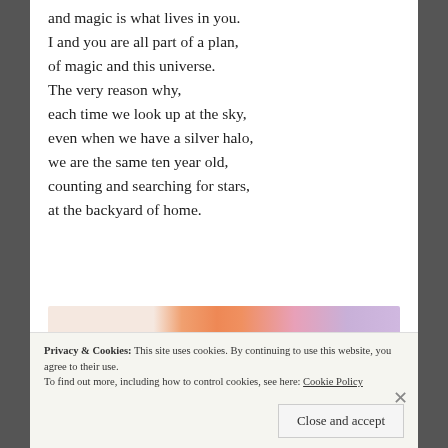and magic is what lives in you.
I and you are all part of a plan,
of magic and this universe.
The very reason why,
each time we look up at the sky,
even when we have a silver halo,
we are the same ten year old,
counting and searching for stars,
at the backyard of home.
[Figure (other): Advertisement banner with gradient colors from peach/pink to purple]
Privacy & Cookies: This site uses cookies. By continuing to use this website, you agree to their use.
To find out more, including how to control cookies, see here: Cookie Policy
Close and accept